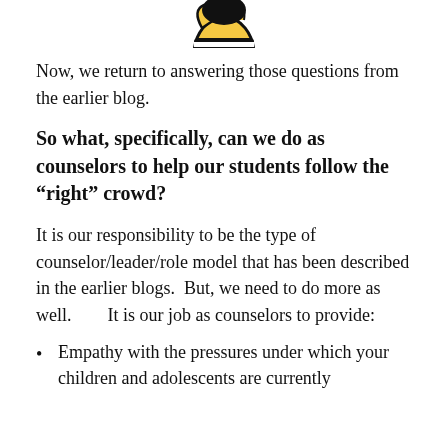[Figure (illustration): Partial view of a cartoon illustration showing a hand giving a thumbs up, cropped at the top of the page, with black, white and yellow coloring]
Now, we return to answering those questions from the earlier blog.
So what, specifically, can we do as counselors to help our students follow the “right” crowd?
It is our responsibility to be the type of counselor/leader/role model that has been described in the earlier blogs.  But, we need to do more as well.       It is our job as counselors to provide:
Empathy with the pressures under which your children and adolescents are currently